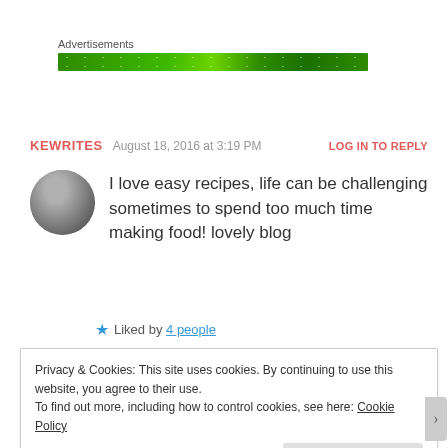Advertisements
[Figure (other): Green advertisement banner with dots/sparkle pattern]
KEWRITES   August 18, 2016 at 3:19 PM   LOG IN TO REPLY
I love easy recipes, life can be challenging sometimes to spend too much time making food! lovely blog
★ Liked by 4 people
Privacy & Cookies: This site uses cookies. By continuing to use this website, you agree to their use.
To find out more, including how to control cookies, see here: Cookie Policy
Close and accept